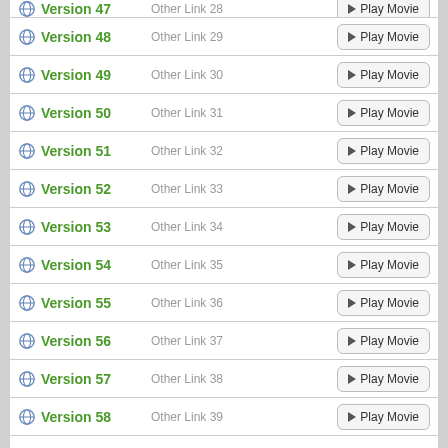Version 47 | Other Link 28 | Play Movie
Version 48 | Other Link 29 | Play Movie
Version 49 | Other Link 30 | Play Movie
Version 50 | Other Link 31 | Play Movie
Version 51 | Other Link 32 | Play Movie
Version 52 | Other Link 33 | Play Movie
Version 53 | Other Link 34 | Play Movie
Version 54 | Other Link 35 | Play Movie
Version 55 | Other Link 36 | Play Movie
Version 56 | Other Link 37 | Play Movie
Version 57 | Other Link 38 | Play Movie
Version 58 | Other Link 39 | Play Movie